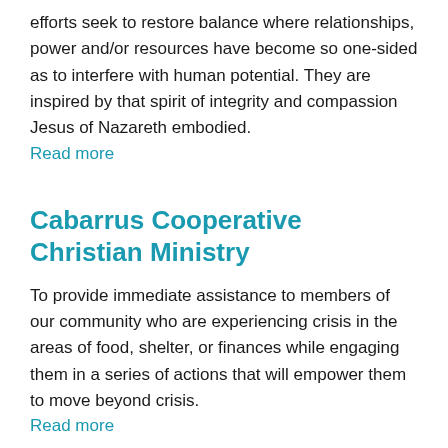efforts seek to restore balance where relationships, power and/or resources have become so one-sided as to interfere with human potential. They are inspired by that spirit of integrity and compassion Jesus of Nazareth embodied.
Read more
Cabarrus Cooperative Christian Ministry
To provide immediate assistance to members of our community who are experiencing crisis in the areas of food, shelter, or finances while engaging them in a series of actions that will empower them to move beyond crisis.
Read more
North Raleigh Ministries
To equip families and individuals in crisis with the resources and skills they need to achieve stability.